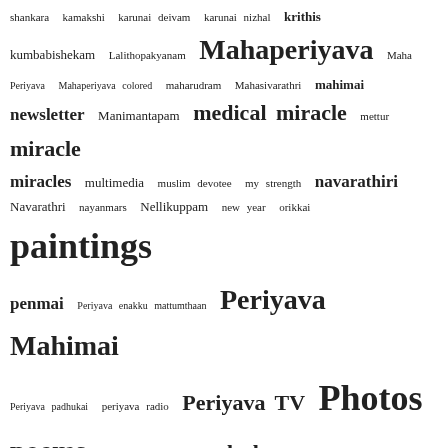shankara kamakshi karunai deivam karunai nizhal krithis kumbabishekam Lalithopakyanam Mahaperiyava Maha Periyava Mahaperiyava colored maharudram Mahasivarathri mahimai newsletter Manimantapam medical miracle mettur miracle miracles multimedia muslim devotee my strength navarathiri Navarathri nayanmars Nellikuppam new year orikkai paintings penmai Periyava enakku mattumthaan Periyava Mahimai Periyava padhukai periyava radio Periyava TV Photos poems pradosham pradosham mama Pudhu periyava Pudhu Periyava Mahimai quiz ra ganapathi Ramana Maharishi Sage with Eyes of Light sakthi vikatan Salem Ravi Samrakshanam sandhyavandhanam sankara charitham sankara jayanthi sankaran chandran shiva bakthi shiva linga Shivananda lahari meaning sivan sar Sivan Sir slokas Sri Sivan Sar sthuthi subramanian swamy thiruvanaikovil Upadesam Upanyasams Vaishnava vinayagaragaval yogi ramsuratkumar